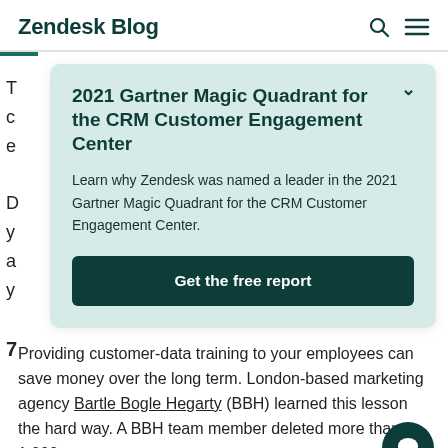Zendesk Blog
2021 Gartner Magic Quadrant for the CRM Customer Engagement Center
Learn why Zendesk was named a leader in the 2021 Gartner Magic Quadrant for the CRM Customer Engagement Center.
Get the free report
Providing customer-data training to your employees can save money over the long term. London-based marketing agency Bartle Bogle Hegarty (BBH) learned this lesson the hard way. A BBH team member deleted more than 1,000